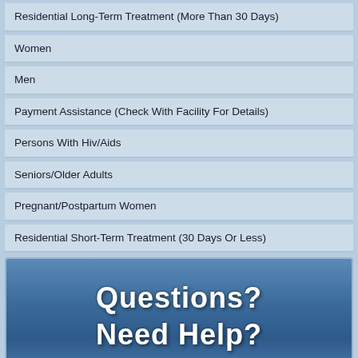Residential Long-Term Treatment (More Than 30 Days)
Women
Men
Payment Assistance (Check With Facility For Details)
Persons With Hiv/Aids
Seniors/Older Adults
Pregnant/Postpartum Women
Residential Short-Term Treatment (30 Days Or Less)
[Figure (infographic): Blue banner with white bold text reading 'Questions? Need Help?']